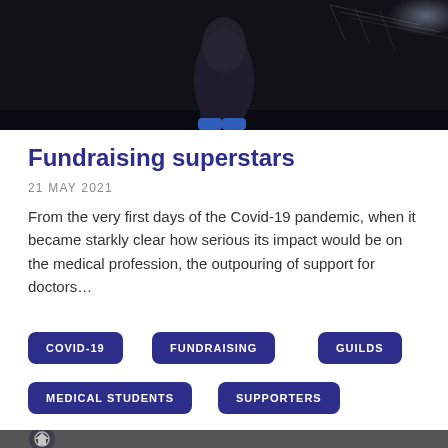[Figure (photo): Photo of a runner/person outdoors against a dark background with fence visible]
Fundraising superstars
21 MAY 2021
From the very first days of the Covid-19 pandemic, when it became starkly clear how serious its impact would be on the medical profession, the outpouring of support for doctors…
COVID-19
FUNDRAISING
GUILDS
MEDICAL STUDENTS
SUPPORTERS
[Figure (photo): Partial view of a person with a badge/logo overlay in the bottom section of the page]